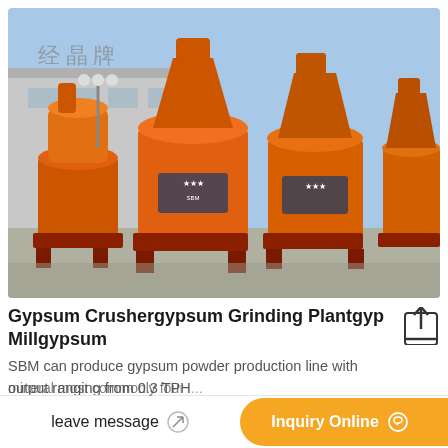[Figure (photo): Multiple large orange industrial grinding mill machines (gypsum mills) parked in a factory yard with a grey building in the background with Chinese characters on it. The machines are cylindrical with conical tops, mounted on red steel frames.]
Gypsum Crushergypsum Grinding Plantgyp Millgypsum
SBM can produce gypsum powder production line with output ranging from 0.3 TPH... mineral most commonly fou...